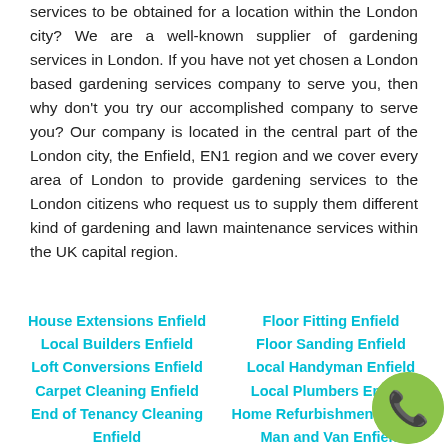services to be obtained for a location within the London city? We are a well-known supplier of gardening services in London. If you have not yet chosen a London based gardening services company to serve you, then why don't you try our accomplished company to serve you? Our company is located in the central part of the London city, the Enfield, EN1 region and we cover every area of London to provide gardening services to the London citizens who request us to supply them different kind of gardening and lawn maintenance services within the UK capital region.
House Extensions Enfield
Local Builders Enfield
Loft Conversions Enfield
Carpet Cleaning Enfield
End of Tenancy Cleaning Enfield
Home Cleaning Enfield
Floor Fitting Enfield
Floor Sanding Enfield
Local Handyman Enfield
Local Plumbers Enfield
Home Refurbishment Enfield
Man and Van Enfield
[Figure (illustration): Green circular phone badge with a white phone handset icon in the bottom-right corner]